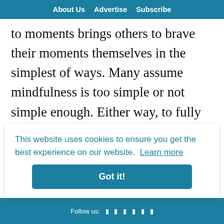About Us   Advertise   Subscribe
to moments brings others to brave their moments themselves in the simplest of ways. Many assume mindfulness is too simple or not simple enough. Either way, to fully embrace connection to oneself is to be aware of life’s beginnings and endings throughout time. Forget being perfect or if it is done right. Be present in your moments, so you can do the same for others
This website uses cookies to ensure you get the best experience on our website. Learn more
Got it!
Follow us: